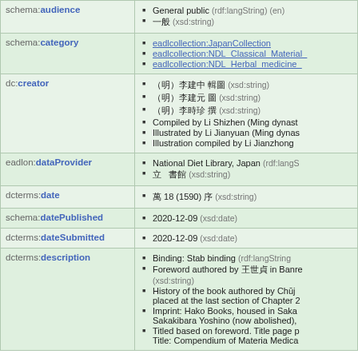| Property | Value |
| --- | --- |
| schema:audience | General public (rdf:langString) (en)
一般 (xsd:string) |
| schema:category | eadlcollection:JapanCollection
eadlcollection:NDL_Classical_Material_
eadlcollection:NDL_Herbal_medicine_ |
| dc:creator | (明）李建中 輯圖 (xsd:string)
（明）李建元 圖 (xsd:string)
（明）李時珍 撰 (xsd:string)
Compiled by Li Shizhen (Ming dynast
Illustrated by Li Jianyuan (Ming dynas
Illustration compiled by Li Jianzhong |
| eadlon:dataProvider | National Diet Library, Japan (rdf:langS
立　書館 (xsd:string) |
| dcterms:date | 萬 18 (1590) 序 (xsd:string) |
| schema:datePublished | 2020-12-09 (xsd:date) |
| dcterms:dateSubmitted | 2020-12-09 (xsd:date) |
| dcterms:description | Binding: Stab binding (rdf:langString
Foreword authored by 王世貞 in Banre (xsd:string)
History of the book authored by Chūj placed at the last section of Chapter 2
Imprint: Hako Books, housed in Saka Sakakibara Yoshino (now abolished),
Titled based on foreword. Title page p Title: Compendium of Materia Medica (xsd:string) |